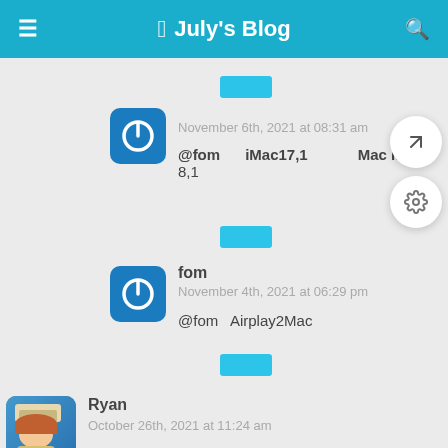July's Blog
[Figure (screenshot): Cyan tag/label placeholder button]
[Figure (illustration): Blue rounded square avatar with power button icon]
November 6th, 2021 at 08:31 am
@fom   iMac17,1   Mac mi... 8,1
[Figure (screenshot): Cyan tag/label placeholder button]
[Figure (illustration): Blue rounded square avatar with power button icon]
fom
November 4th, 2021 at 06:29 pm
@fom  Airplay2Mac
[Figure (screenshot): Cyan tag/label placeholder button]
Ryan
October 26th, 2021 at 11:24 am
EFI  ?  .
[Figure (illustration): Anime character avatar for Ryan]